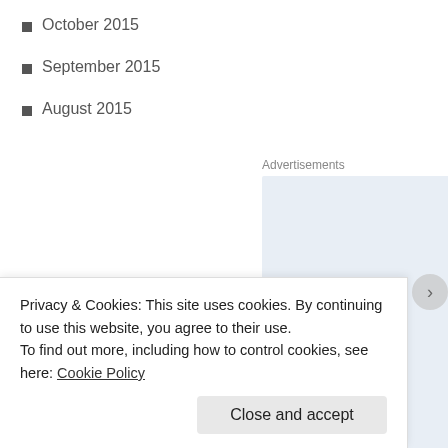October 2015
September 2015
August 2015
[Figure (other): Advertisement placeholder box with light blue background and WordPress logo icon (W) in rounded square at bottom left]
Privacy & Cookies: This site uses cookies. By continuing to use this website, you agree to their use.
To find out more, including how to control cookies, see here: Cookie Policy
Close and accept